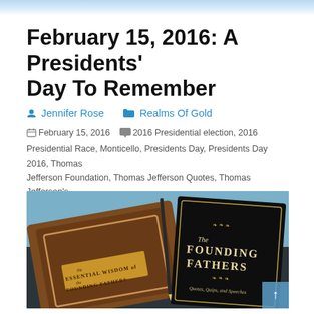February 15, 2016: A Presidents' Day To Remember
Jennifer Rose   Realms Of Gold
February 15, 2016   2016 Presidential election, 2016 Presidential Race, Monticello, Presidents Day, Presidents Day 2016, Thomas Jefferson Foundation, Thomas Jefferson Quotes, Thomas Jefferson's Monticello   0 Comment
[Figure (photo): Two books photographed: 'The Essential Wisdom of the Founding Fathers' (brown ornate cover) and 'The Founding Fathers: Quotes, Quips, and Speeches' (black cover with gold text), lying on a surface.]